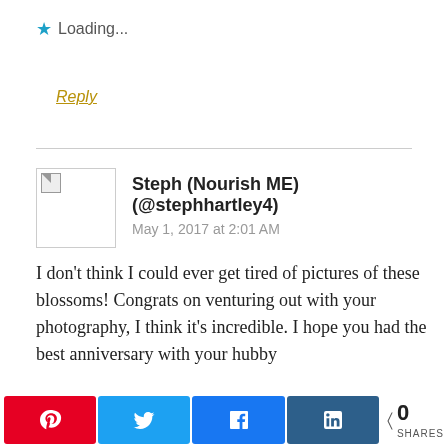★ Loading...
Reply
Steph (Nourish ME) (@stephhartley4)
May 1, 2017 at 2:01 AM
I don't think I could ever get tired of pictures of these blossoms! Congrats on venturing out with your photography, I think it's incredible. I hope you had the best anniversary with your hubby
Steph – http://www.nourishmeblog.co.uk
[Figure (infographic): Social share bar with Pinterest, Twitter, Facebook, LinkedIn buttons and a share count of 0]